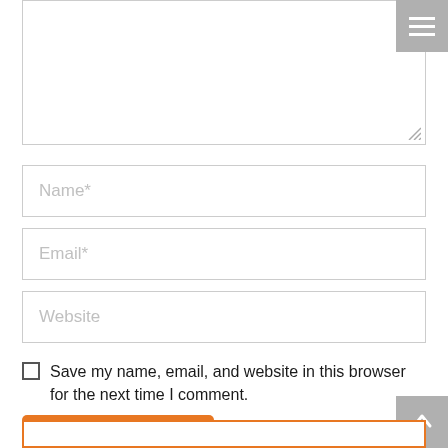[Figure (screenshot): Textarea input box (comment form field) at the top of the page with a resize handle at bottom right]
[Figure (screenshot): Text input field with placeholder 'Name*']
[Figure (screenshot): Text input field with placeholder 'Email*']
[Figure (screenshot): Text input field with placeholder 'Website']
Save my name, email, and website in this browser for the next time I comment.
Post comment
[Figure (screenshot): Back to top arrow button in bottom right corner]
[Figure (screenshot): Orange-bordered input field at the very bottom of the page]